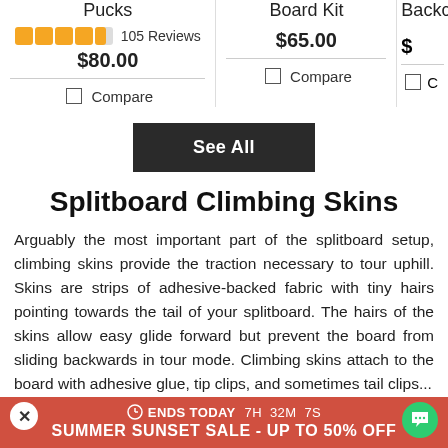Pucks
★★★★½ 105 Reviews
$80.00
☐ Compare
Board Kit
$65.00
☐ Compare
Backco...
$ ...
☐ C...
See All
Splitboard Climbing Skins
Arguably the most important part of the splitboard setup, climbing skins provide the traction necessary to tour uphill. Skins are strips of adhesive-backed fabric with tiny hairs pointing towards the tail of your splitboard. The hairs of the skins allow easy glide forward but prevent the board from sliding backwards in tour mode. Climbing skins attach to the board with adhesive glue, tip clips, and sometimes tail clips...
ENDS TODAY 7H 32M 7S — SUMMER SUNSET SALE - UP TO 50% OFF